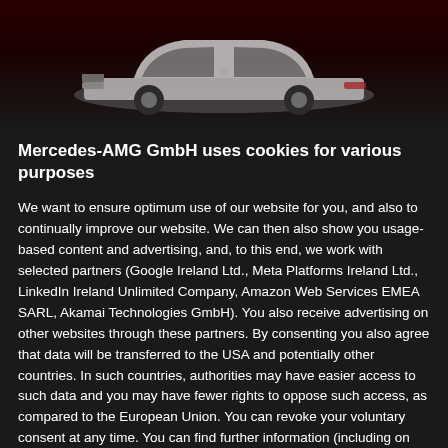[Figure (photo): Mercedes-AMG car silhouette (white sedan) against a dark red/black gradient background]
Mercedes-AMG GmbH uses cookies for various purposes
We want to ensure optimum use of our website for you, and also to continually improve our website. We can then also show you usage-based content and advertising, and, to this end, we work with selected partners (Google Ireland Ltd., Meta Platforms Ireland Ltd., LinkedIn Ireland Unlimited Company, Amazon Web Services EMEA SARL, Akamai Technologies GmbH). You also receive advertising on other websites through these partners. By consenting you also agree that data will be transferred to the USA and potentially other countries. In such countries, authorities may have easier access to such data and you may have fewer rights to oppose such access, as compared to the European Union. You can revoke your voluntary consent at any time. You can find further information (including on data transfers) and setting options under "Settings" and in our privacy statement.
Agree to all
Settings